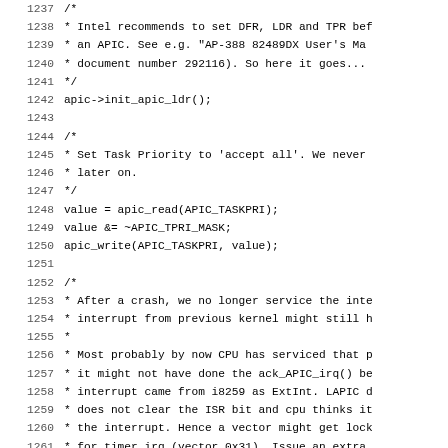Source code listing lines 1237-1268, showing C code for APIC initialization including init_apic_ldr(), task priority setup, and interrupt service routine loop.